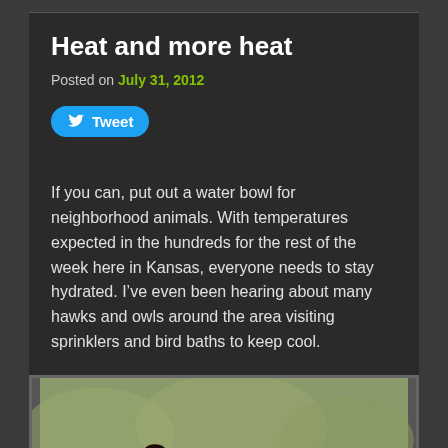Heat and more heat
Posted on July 31, 2012
Tweet
If you can, put out a water bowl for neighborhood animals. With temperatures expected in the hundreds for the rest of the week here in Kansas, everyone needs to stay hydrated. I’ve even been hearing about many hawks and owls around the area visiting sprinklers and bird baths to keep cool.
[Figure (photo): Two American robins standing on the ground, with orange-red breasts visible, photographed outdoors.]